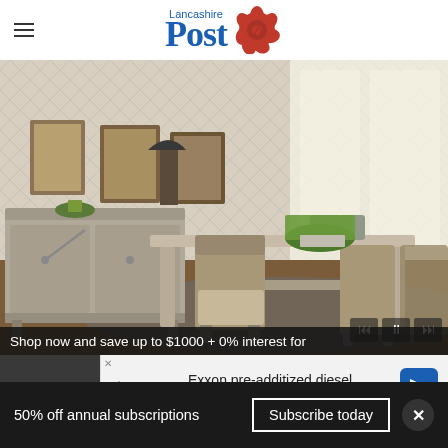Lancashire Post
[Figure (photo): Rustic gray wood dining room set with table, chairs, and sideboard in a bright room with sheer curtains and potted plants]
Shop now and save up to $1000 + 0% interest for
[Figure (infographic): Exxon advertisement: Exxon pre-additized diesel keeps your engine cleaner.*]
50% off annual subscriptions
Subscribe today